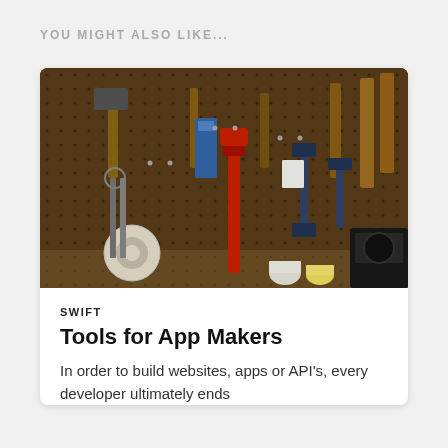YOU MIGHT ALSO LIKE...
[Figure (photo): A pegboard with various tools hanging on it including hammers, scissors, clamps, a pipe wrench, and other workshop tools. Items at the bottom include tape rolls and containers.]
SWIFT
Tools for App Makers
In order to build websites, apps or API's, every developer ultimately ends